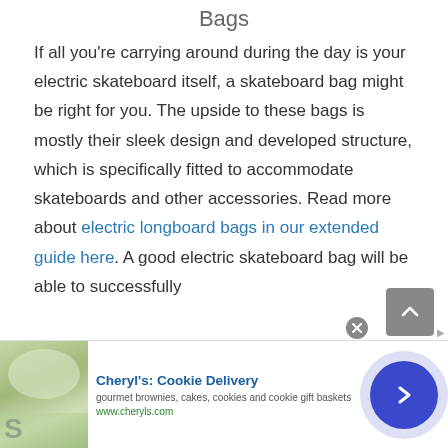Bags
If all you're carrying around during the day is your electric skateboard itself, a skateboard bag might be right for you. The upside to these bags is mostly their sleek design and developed structure, which is specifically fitted to accommodate skateboards and other accessories. Read more about electric longboard bags in our extended guide here. A good electric skateboard bag will be able to successfully
[Figure (other): Advertisement banner for Cheryl's Cookie Delivery showing gourmet brownies, cakes, cookies and cookie gift baskets with website www.cheryls.com and a forward arrow button]